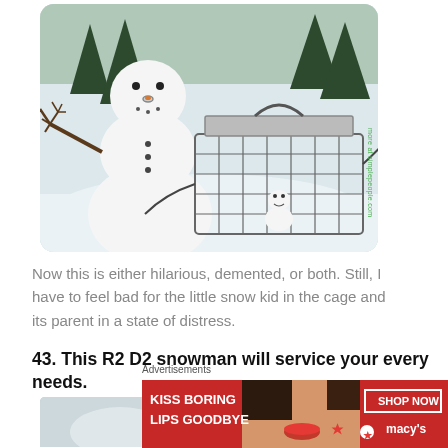[Figure (photo): A snowman on the left side with stick arms and a nose ring, with a smaller snowman/snow figure trapped inside a wire animal cage/trap on a snowy surface. Trees visible in background. Watermark text 'more at simplepeople.com' visible on right edge.]
Now this is either hilarious, demented, or both. Still, I have to feel bad for the little snow kid in the cage and its parent in a state of distress.
43. This R2 D2 snowman will service your every needs.
[Figure (photo): Partially visible photo at the bottom, appears to show a snowy scene]
Advertisements
[Figure (photo): Macy's advertisement banner showing a woman with red lipstick, text 'KISS BORING LIPS GOODBYE', 'SHOP NOW', and Macy's star logo]